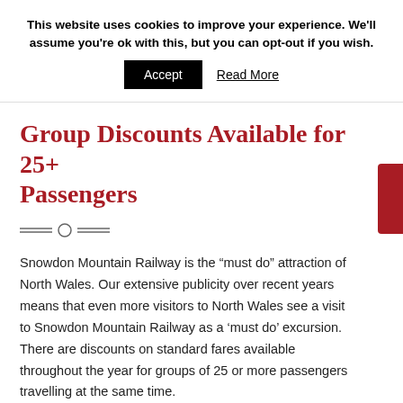This website uses cookies to improve your experience. We'll assume you're ok with this, but you can opt-out if you wish.
Accept   Read More
Group Discounts Available for 25+ Passengers
Snowdon Mountain Railway is the “must do” attraction of North Wales. Our extensive publicity over recent years means that even more visitors to North Wales see a visit to Snowdon Mountain Railway as a ‘must do’ excursion. There are discounts on standard fares available throughout the year for groups of 25 or more passengers travelling at the same time.
We’re proud that many schools visit us year after year, it’s a